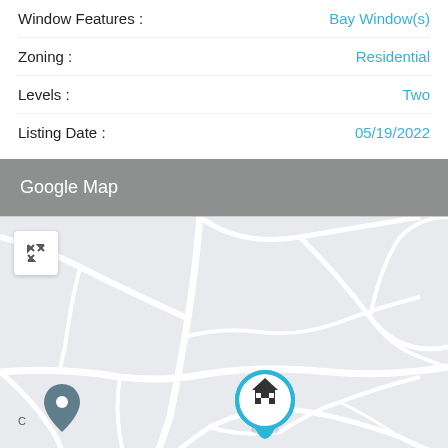Window Features : Bay Window(s)
Zoning : Residential
Levels : Two
Listing Date : 05/19/2022
Google Map
[Figure (map): Google Map showing property location with a house pin marker in the center and a secondary location pin on the left side. Roads shown as white lines on light gray background.]